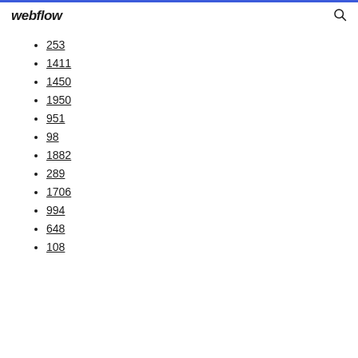webflow
253
1411
1450
1950
951
98
1882
289
1706
994
648
108